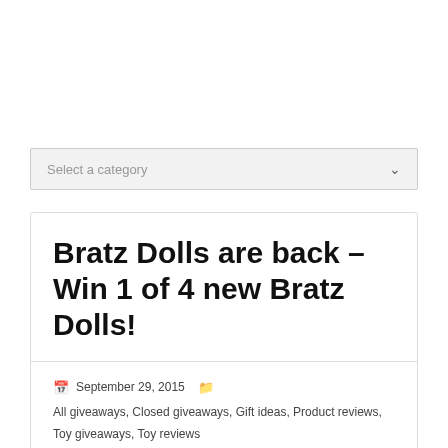[Figure (other): Dropdown selector UI element with 'Select a category' placeholder text and a chevron arrow]
Bratz Dolls are back – Win 1 of 4 new Bratz Dolls!
September 29, 2015  All giveaways, Closed giveaways, Gift ideas, Product reviews, Toy giveaways, Toy reviews  LetsGoMum  14 comments